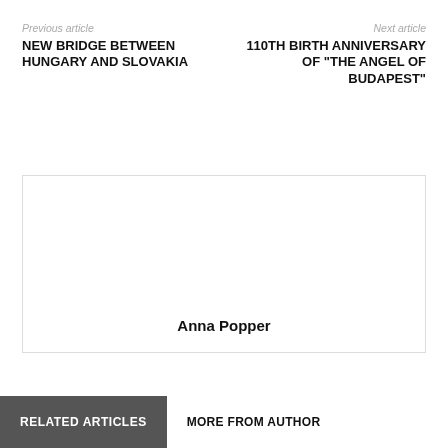Previous article
Next article
NEW BRIDGE BETWEEN HUNGARY AND SLOVAKIA
110TH BIRTH ANNIVERSARY OF “THE ANGEL OF BUDAPEST”
[Figure (other): Author profile box with name Anna Popper at the bottom center]
Anna Popper
RELATED ARTICLES
MORE FROM AUTHOR